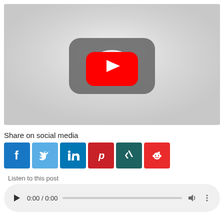[Figure (screenshot): YouTube video player thumbnail showing a large grey YouTube play button icon on a light grey background]
Share on social media
[Figure (infographic): Row of 6 social media share buttons: Facebook, Twitter, LinkedIn, Pinterest, XING, Reddit]
Listen to this post
[Figure (screenshot): Audio player showing play button, time 0:00 / 0:00, progress bar, volume and more options buttons]